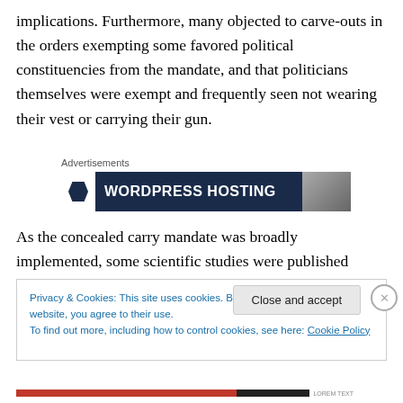implications. Furthermore, many objected to carve-outs in the orders exempting some favored political constituencies from the mandate, and that politicians themselves were exempt and frequently seen not wearing their vest or carrying their gun.
Advertisements
[Figure (screenshot): Advertisement banner for WordPress Hosting with dark navy background, white icon block on left, bold white text 'WORDPRESS HOSTING', and a photo on the right side.]
As the concealed carry mandate was broadly implemented, some scientific studies were published
Privacy & Cookies: This site uses cookies. By continuing to use this website, you agree to their use.
To find out more, including how to control cookies, see here: Cookie Policy
Close and accept